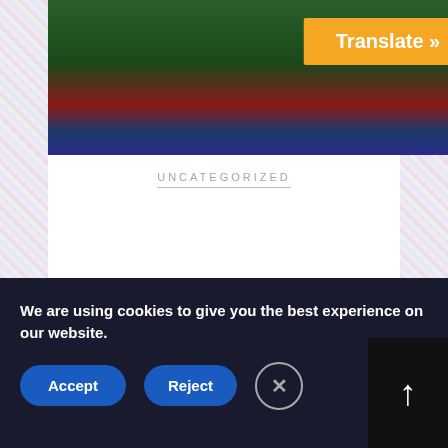[Figure (photo): Header image showing event/outdoor scene with green grass and crowd, with a dark red and blue horizontal bar at bottom. Contains an orange 'Translate »' button overlay.]
UNCATEGORIZED
2017 CHERUBS Conference for CDH Families
0
We are using cookies to give you the best experience on our website.
Accept
Reject